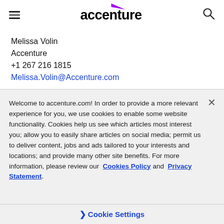accenture
Melissa Volin
Accenture
+1 267 216 1815
Melissa.Volin@Accenture.com
Welcome to accenture.com! In order to provide a more relevant experience for you, we use cookies to enable some website functionality. Cookies help us see which articles most interest you; allow you to easily share articles on social media; permit us to deliver content, jobs and ads tailored to your interests and locations; and provide many other site benefits. For more information, please review our Cookies Policy and Privacy Statement.
Cookie Settings